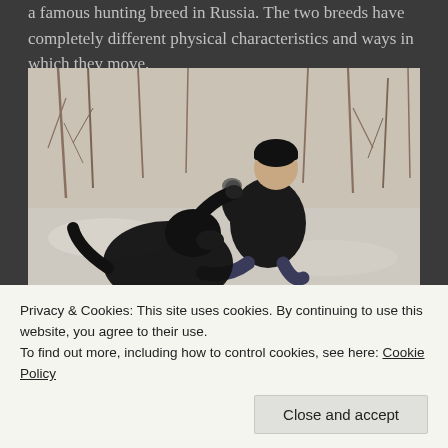a famous hunting breed in Russia. The two breeds have completely different physical characteristics and ways in which they move.
[Figure (photo): A person in winter clothing and a dark beanie hat sitting outdoors in a snowy wooded area, interacting with a large black dog. The scene shows bare winter trees and snow-covered ground.]
Privacy & Cookies: This site uses cookies. By continuing to use this website, you agree to their use.
To find out more, including how to control cookies, see here: Cookie Policy